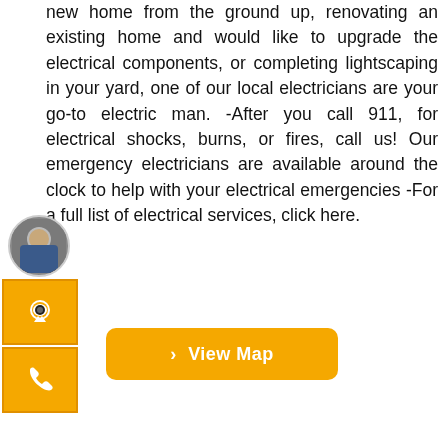new home from the ground up, renovating an existing home and would like to upgrade the electrical components, or completing lightscaping in your yard, one of our local electricians are your go-to electric man. -After you call 911, for electrical shocks, burns, or fires, call us! Our emergency electricians are available around the clock to help with your electrical emergencies -For a full list of electrical services, click here.
[Figure (other): Orange sidebar widget with circular avatar photo of a person, a chat icon button, and a phone icon button — all with orange/amber background.]
[Figure (other): Orange rounded button with white bold text '> View Map']